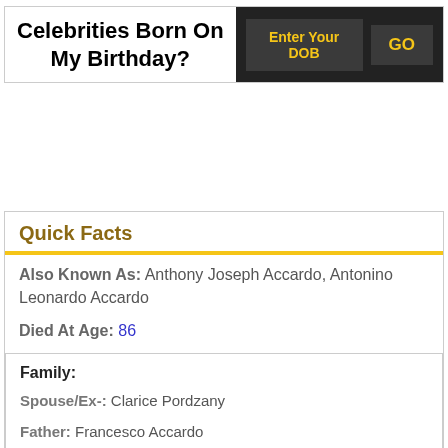Celebrities Born On My Birthday?
Enter Your DOB | GO
Quick Facts
Also Known As: Anthony Joseph Accardo, Antonino Leonardo Accardo
Died At Age: 86
Family: Spouse/Ex-: Clarice Pordzany | Father: Francesco Accardo